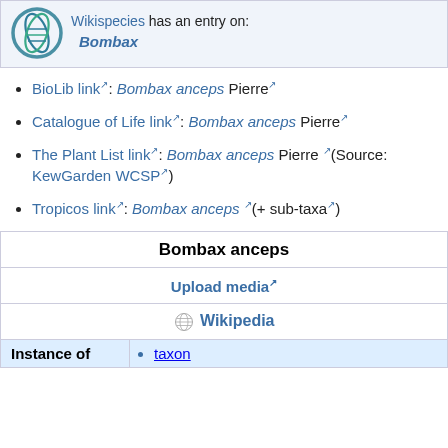[Figure (logo): Wikispecies logo — circular blue/teal DNA helix emblem]
Wikispecies has an entry on: Bombax
BioLib link: Bombax anceps Pierre
Catalogue of Life link: Bombax anceps Pierre
The Plant List link: Bombax anceps Pierre (Source: KewGarden WCSP)
Tropicos link: Bombax anceps (+ sub-taxa)
| Bombax anceps |
| Upload media |
| Wikipedia |
| Instance of | taxon |